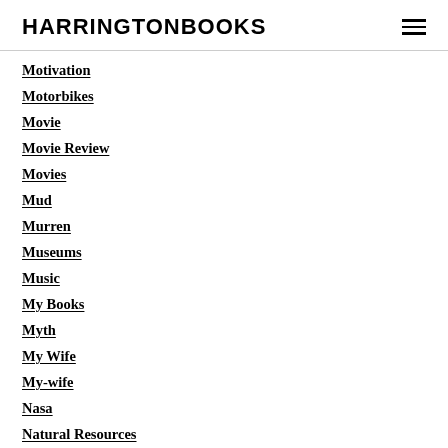HARRINGTONBOOKS
Motivation
Motorbikes
Movie
Movie Review
Movies
Mud
Murren
Museums
Music
My Books
Myth
My Wife
My-wife
Nasa
Natural Resources
Nature